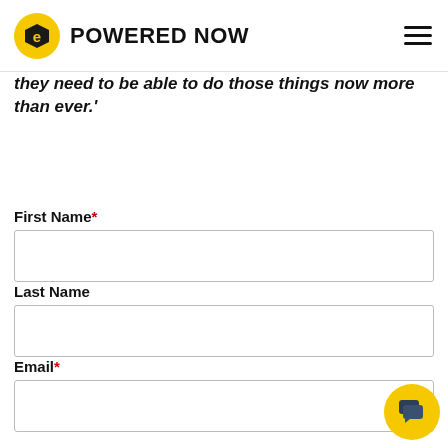POWERED NOW
they need to be able to do those things now more than ever.'
First Name*
Last Name
Email*